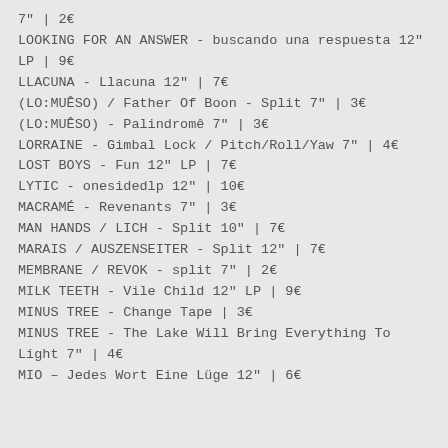7" | 2€
LOOKING FOR AN ANSWER - buscando una respuesta 12" LP | 9€
LLACUNA - Llacuna 12" | 7€
(LO:MUÊSO) / Father Of Boon - Split 7" | 3€
(LO:MUÊSO) - Palindromê 7" | 3€
LORRAINE - Gimbal Lock / Pitch/Roll/Yaw 7" | 4€
LOST BOYS - Fun 12" LP | 7€
LYTIC - onesidedlp 12" | 10€
MACRAMÉ - Revenants 7" | 3€
MAN HANDS / LICH - Split 10" | 7€
MARAIS / AUSZENSEITER - Split 12" | 7€
MEMBRANE / REVOK - split 7" | 2€
MILK TEETH - Vile Child 12" LP | 9€
MINUS TREE - Change Tape | 3€
MINUS TREE - The Lake Will Bring Everything To Light 7" | 4€
MIO – Jedes Wort Eine Lüge 12" | 6€